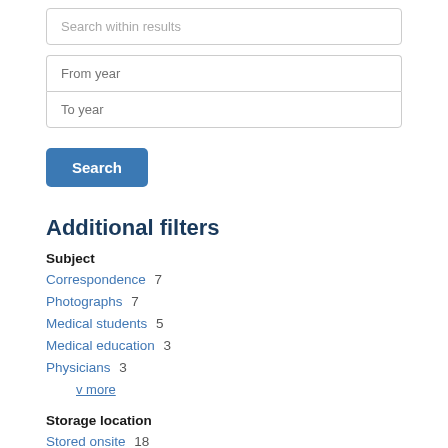Filter Results
Search within results
From year
To year
Search
Additional filters
Subject
Correspondence  7
Photographs  7
Medical students  5
Medical education  3
Physicians  3
v more
Storage location
Stored onsite  18
Stored offsite  1